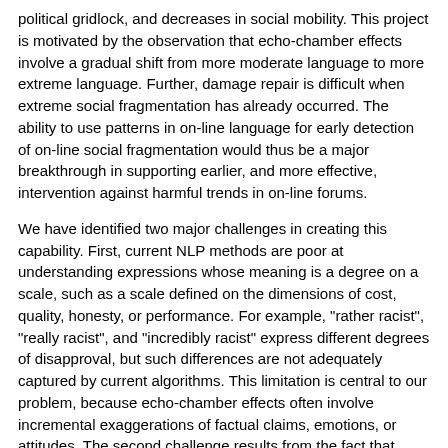political gridlock, and decreases in social mobility. This project is motivated by the observation that echo-chamber effects involve a gradual shift from more moderate language to more extreme language. Further, damage repair is difficult when extreme social fragmentation has already occurred. The ability to use patterns in on-line language for early detection of on-line social fragmentation would thus be a major breakthrough in supporting earlier, and more effective, intervention against harmful trends in on-line forums.
We have identified two major challenges in creating this capability. First, current NLP methods are poor at understanding expressions whose meaning is a degree on a scale, such as a scale defined on the dimensions of cost, quality, honesty, or performance. For example, "rather racist", "really racist", and "incredibly racist" express different degrees of disapproval, but such differences are not adequately captured by current algorithms. This limitation is central to our problem, because echo-chamber effects often involve incremental exaggerations of factual claims, emotions, or attitudes. The second challenge results from the fact that methods for using linguistic content in the analysis of social behaviour are limited. While much research has uncovered systematic associations between word choices and social groups, very little has addressed relationships between linguistic inferences and social trends. However, tracking the gradual shifts towards semantic extremes in echo-chamber effects requires making certain linguistic inferences. This is because inferring which underlying dimension of meaning is relevant in any specific case critically depends on information about who is talking and what they are talking about. For example, "Liverpool is far better" might to relate a scale of cultural excellence in a discussion amongst music fans, but to a scale of costs amongst people who are discussing housing. A fundamental advance in the methodology for combining linguistic and